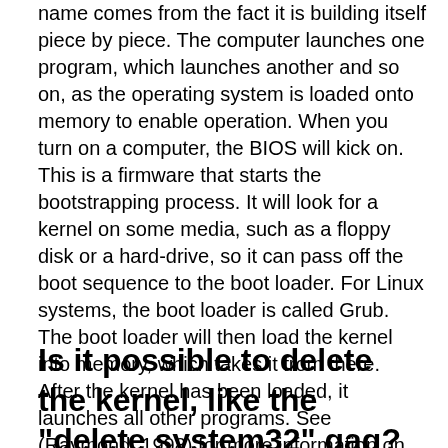name comes from the fact it is building itself piece by piece. The computer launches one program, which launches another and so on, as the operating system is loaded onto memory to enable operation. When you turn on a computer, the BIOS will kick on. This is a firmware that starts the bootstrapping process. It will look for a kernel on some media, such as a floppy disk or a hard-drive, so it can pass off the boot sequence to the boot loader. For Linux systems, the boot loader is called Grub. The boot loader will then load the kernel into memory, which takes it from there. After the kernel has been loaded, it launches all other programs. See (Raymond, 1998) for more information on the bootstrapping sequence.
Is it possible to delete the kernel, like the "delete system32" gag?